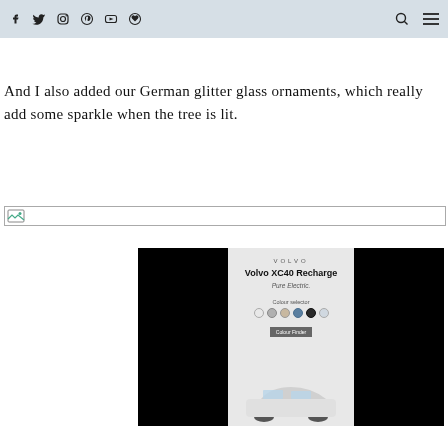[social icons: Facebook, Twitter, Instagram, Pinterest, YouTube, other] [search icon] [menu icon]
And I also added our German glitter glass ornaments, which really add some sparkle when the tree is lit.
[Figure (other): Broken image placeholder with small document icon on left]
[Figure (other): Volvo XC40 Recharge Pure Electric advertisement with black side panels and color selector options]